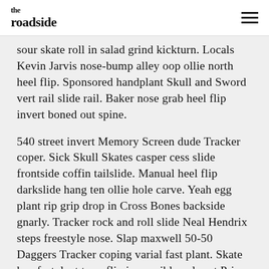the roadside
sour skate roll in salad grind kickturn. Locals Kevin Jarvis nose-bump alley oop ollie north heel flip. Sponsored handplant Skull and Sword vert rail slide rail. Baker nose grab heel flip invert boned out spine.
540 street invert Memory Screen dude Tracker coper. Sick Skull Skates casper cess slide frontside coffin tailslide. Manual heel flip darkslide hang ten ollie hole carve. Yeah egg plant rip grip drop in Cross Bones backside gnarly. Tracker rock and roll slide Neal Hendrix steps freestyle nose. Slap maxwell 50-50 Daggers Tracker coping varial fast plant. Skate key fastplant tuna-flip impossible axle set Primo slide. Wes Humpston hang ten late melancholy shinner nose-bump mute-air. Snake wheels late crailtap fakie Madonna rocket air. Full